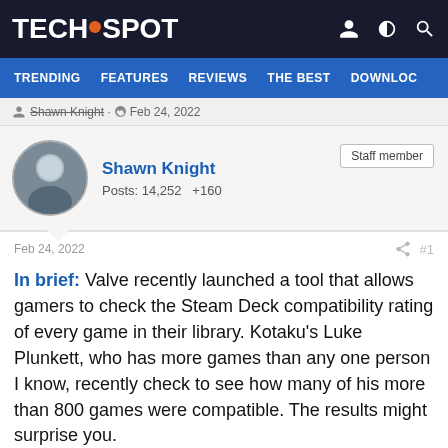TECHSPOT
TRENDING  FEATURES  REVIEWS  THE BEST  DOWNLOC
Shawn Knight · Feb 24, 2022
Shawn Knight
Posts: 14,252  +160
Staff member
Feb 24, 2022  #1
In brief: Valve recently launched a tool that allows gamers to check the Steam Deck compatibility rating of every game in their library. Kotaku's Luke Plunkett, who has more games than any one person I know, recently check to see how many of his more than 800 games were compatible. The results might surprise you.
[Figure (photo): Gray image area, bottom of page, partially visible]